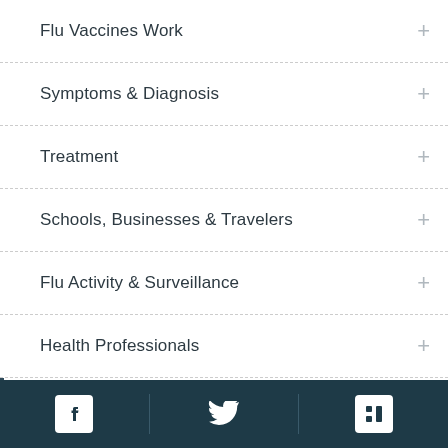Flu Vaccines Work
Symptoms & Diagnosis
Treatment
Schools, Businesses & Travelers
Flu Activity & Surveillance
Health Professionals
Flu News & Spotlights
2021-2022
Social media links: Facebook, Twitter, LinkedIn